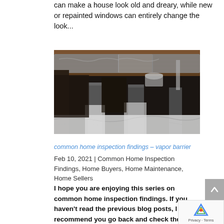can make a house look old and dreary, while new or repainted windows can entirely change the look...
[Figure (photo): Interior view of a crawl space with silver insulation and vapor barrier plastic sheeting on the floor, concrete support columns visible]
common home inspection findings – vapor barrier
Feb 10, 2021 | Common Home Inspection Findings, Home Buyers, Home Maintenance, Home Sellers
I hope you are enjoying this series on common home inspection findings. If you haven't read the previous blog posts, I highly recommend you go back and check them out! The next top is vapor barrier. Most homeowners rarely, if ever, go into their crawl space.  The idea...